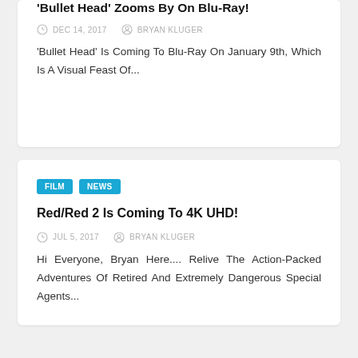'Bullet Head' Zooms By On Blu-Ray!
DEC 14, 2017   BRYAN KLUGER
'Bullet Head' Is Coming To Blu-Ray On January 9th, Which Is A Visual Feast Of...
FILM   NEWS
Red/Red 2 Is Coming To 4K UHD!
JUL 5, 2017   BRYAN KLUGER
Hi Everyone, Bryan Here.... Relive The Action-Packed Adventures Of Retired And Extremely Dangerous Special Agents...